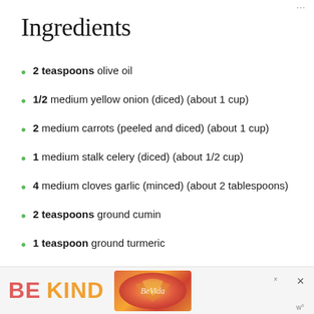Ingredients
2 teaspoons olive oil
1/2 medium yellow onion (diced) (about 1 cup)
2 medium carrots (peeled and diced) (about 1 cup)
1 medium stalk celery (diced) (about 1/2 cup)
4 medium cloves garlic (minced) (about 2 tablespoons)
2 teaspoons ground cumin
1 teaspoon ground turmeric
[Figure (other): Advertisement banner reading BE KIND with decorative imagery and close buttons]